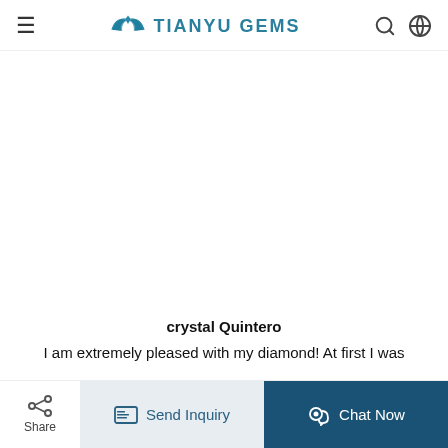TIANYU GEMS
[Figure (other): Large blank/white content area (product image area that did not load)]
crystal Quintero
I am extremely pleased with my diamond! At first I was
Share | Send Inquiry | Chat Now